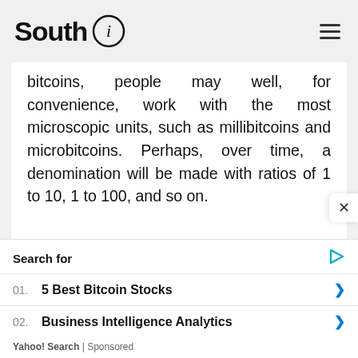South i
bitcoins, people may well, for convenience, work with the most microscopic units, such as millibitcoins and microbitcoins. Perhaps, over time, a denomination will be made with ratios of 1 to 10, 1 to 100, and so on.
Search for
01. 5 Best Bitcoin Stocks
02. Business Intelligence Analytics
Yahoo! Search | Sponsored